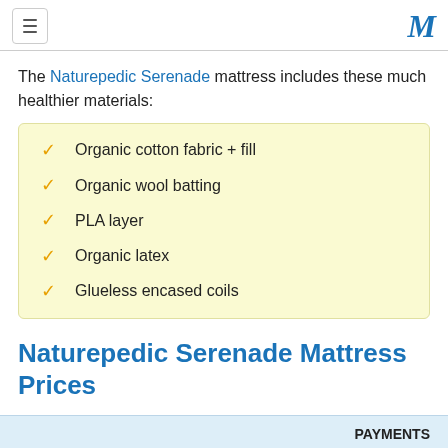[hamburger menu] [M logo]
The Naturepedic Serenade mattress includes these much healthier materials:
Organic cotton fabric + fill
Organic wool batting
PLA layer
Organic latex
Glueless encased coils
Naturepedic Serenade Mattress Prices
PAYMENTS